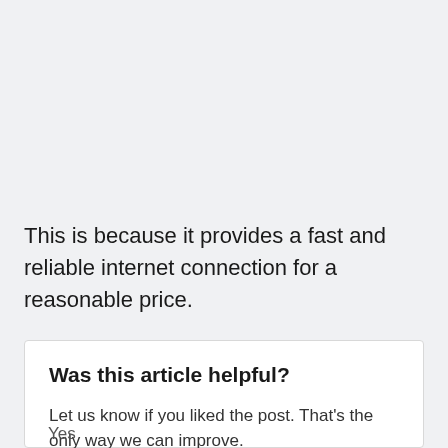This is because it provides a fast and reliable internet connection for a reasonable price.
Was this article helpful?
Let us know if you liked the post. That's the only way we can improve.